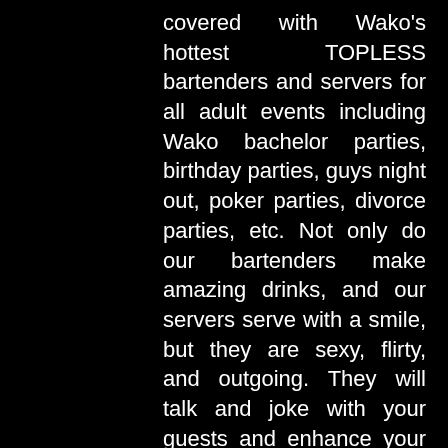covered with Wako's hottest TOPLESS bartenders and servers for all adult events including Wako bachelor parties, birthday parties, guys night out, poker parties, divorce parties, etc. Not only do our bartenders make amazing drinks, and our servers serve with a smile, but they are sexy, flirty, and outgoing. They will talk and joke with your guests and enhance your party environment. Our Wako topless bartenders and topless servers are young and gorgeous. All of our bartenders and servers are model quality and physically fit. If you're looking for the best topless bartenders in the United States, our girls are here to serve you!
If you're looking to make an